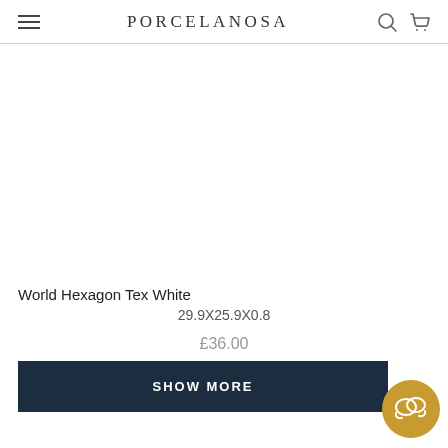PORCELANOSA
[Figure (other): White/blank product image area for World Hexagon Tex White tile]
World Hexagon Tex White
29.9X25.9X0.8
£36.00
SHOW MORE